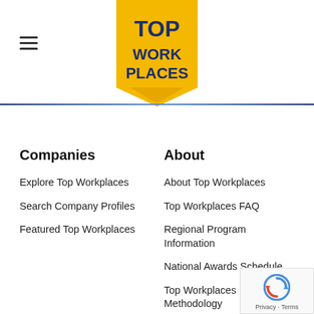[Figure (logo): Top Workplaces gold ribbon/badge logo with dark blue text reading TOP WORK PLACES]
Companies
Explore Top Workplaces
Search Company Profiles
Featured Top Workplaces
About
About Top Workplaces
Top Workplaces FAQ
Regional Program Information
National Awards Schedule
Top Workplaces Methodology